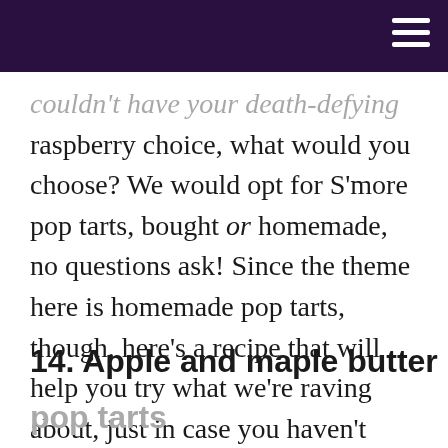couldn't have your death-defying raspberry choice, what would you choose? We would opt for S'more pop tarts, bought or homemade, no questions ask! Since the theme here is homemade pop tarts, though, here's a recipe that will help you try what we're raving about, just in case you haven't before. Get the details on PBS!
14. Apple and maple butter pop tarts